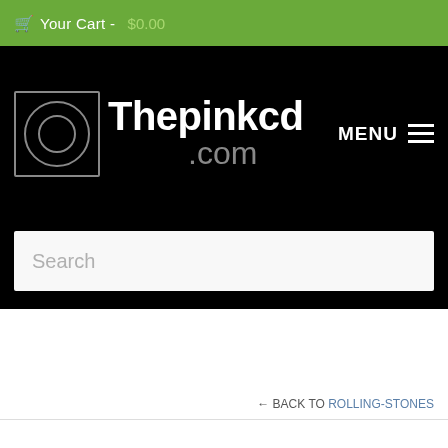Your Cart -  $0.00
[Figure (logo): Thepinkcd.com logo with square border, circle icon, white text on black background]
MENU
Search
← BACK TO ROLLING-STONES